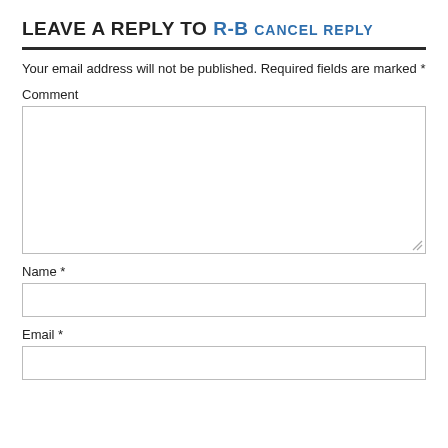LEAVE A REPLY TO R-B CANCEL REPLY
Your email address will not be published. Required fields are marked *
Comment
Name *
Email *